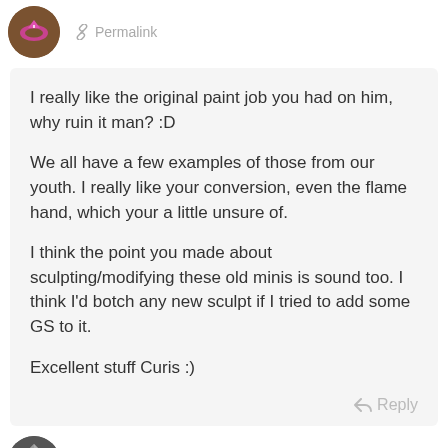[Figure (illustration): User avatar: brown circle with pink donut/crown icon]
Permalink
I really like the original paint job you had on him, why ruin it man? :D

We all have a few examples of those from our youth. I really like your conversion, even the flame hand, which your a little unsure of.

I think the point you made about sculpting/modifying these old minis is sound too. I think I'd botch any new sculpt if I tried to add some GS to it.

Excellent stuff Curis :)
Reply
[Figure (illustration): User avatar: dark grey/black circular avatar with helmet/shield design]
Curis  Post author